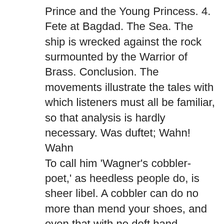Prince and the Young Princess. 4. Fete at Bagdad. The Sea. The ship is wrecked against the rock surmounted by the Warrior of Brass. Conclusion. The movements illustrate the tales with which listeners must all be familiar, so that analysis is hardly necessary. Was duftet; Wahn! Wahn
To call him 'Wagner's cobbler-poet,' as heedless people do, is sheer libel. A cobbler can do no more than mend your shoes, and even that with no deft hand. 'Truely, Sir,' says Shakespeare, 'in respect of a fine workman, I am but as you would say, a Cobler.' Sachs was not only a mastersinger, but a mastercraftsman ; for nearly sixty years he was head of the shoe-makers' guild in his own city of Nuremberg. Scholarship, in his day, was the foundation on which good shoes were built, and Sachs had a sound knowledge of the classics before he ever took a last in hand. Then, his apprenticeship over, he had to see something of the world ; custom and habit after the fashion of the country to—